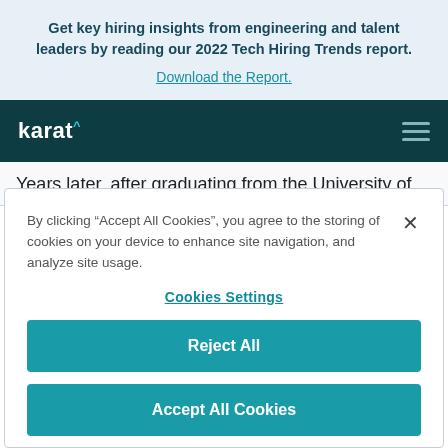Get key hiring insights from engineering and talent leaders by reading our 2022 Tech Hiring Trends report. Download the Report.
[Figure (screenshot): Karat navigation bar with logo and hamburger menu icon on dark teal background]
Years later, after graduating from the University of
By clicking “Accept All Cookies”, you agree to the storing of cookies on your device to enhance site navigation, and analyze site usage.
Cookies Settings
Reject All
Accept All Cookies